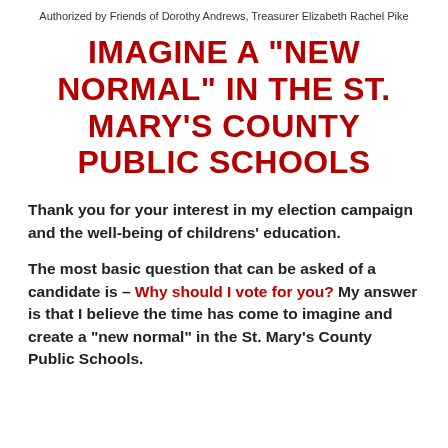Authorized by Friends of Dorothy Andrews, Treasurer Elizabeth Rachel Pike
IMAGINE A "NEW NORMAL" IN THE ST. MARY'S COUNTY PUBLIC SCHOOLS
Thank you for your interest in my election campaign and the well-being of childrens' education.
The most basic question that can be asked of a candidate is – Why should I vote for you? My answer is that I believe the time has come to imagine and create a "new normal" in the St. Mary's County Public Schools.